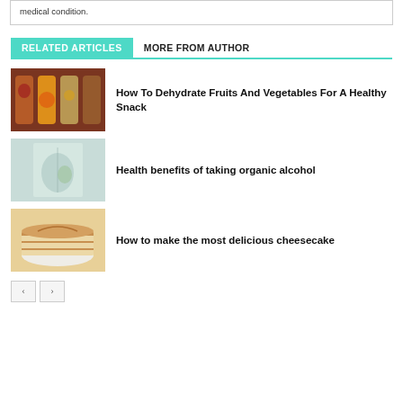medical condition.
RELATED ARTICLES   MORE FROM AUTHOR
[Figure (photo): Mason jars with dehydrated fruits and vegetables on a wooden surface]
How To Dehydrate Fruits And Vegetables For A Healthy Snack
[Figure (photo): Glass with organic alcohol drink on a light background]
Health benefits of taking organic alcohol
[Figure (photo): Slice of cheesecake on a white plate with caramel drizzle]
How to make the most delicious cheesecake